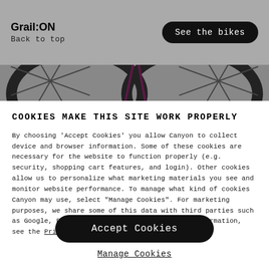Grail:ON
Back to top
See the bikes
[Figure (photo): Partial view of bicycle wheels from above, showing dark rims and purple/dark frame elements against a grey background]
COOKIES MAKE THIS SITE WORK PROPERLY
By choosing 'Accept Cookies' you allow Canyon to collect device and browser information. Some of these cookies are necessary for the website to function properly (e.g. security, shopping cart features, and login). Other cookies allow us to personalize what marketing materials you see and monitor website performance. To manage what kind of cookies Canyon may use, select "Manage Cookies". For marketing purposes, we share some of this data with third parties such as Google, Facebook, and Instagram. For more information, see the Privacy Agreement.
Accept Cookies
Manage Cookies